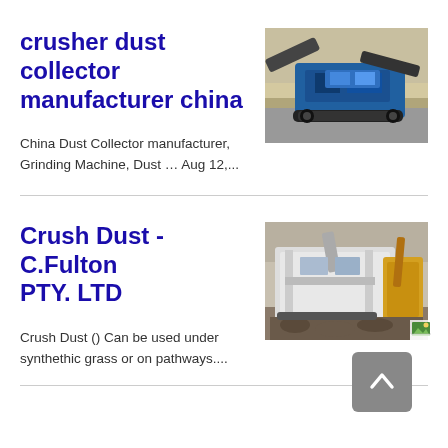crusher dust collector manufacturer china
[Figure (photo): Blue mobile crusher/screening machine on a desert road]
China Dust Collector manufacturer, Grinding Machine, Dust … Aug 12,...
Crush Dust - C.Fulton PTY. LTD
[Figure (photo): White industrial crusher/screening machine outdoors]
Crush Dust () Can be used under synthethic grass or on pathways....